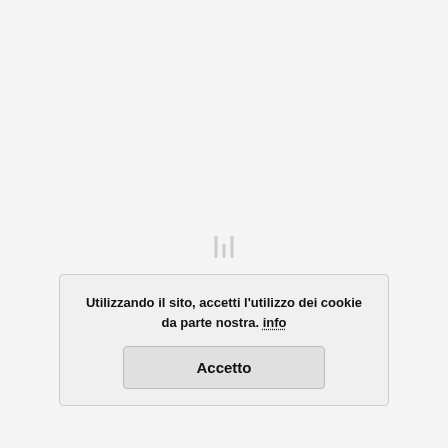[Figure (other): Loading indicator with three vertical bars of varying height in light gray]
Utilizzando il sito, accetti l'utilizzo dei cookie da parte nostra. info
Accetto